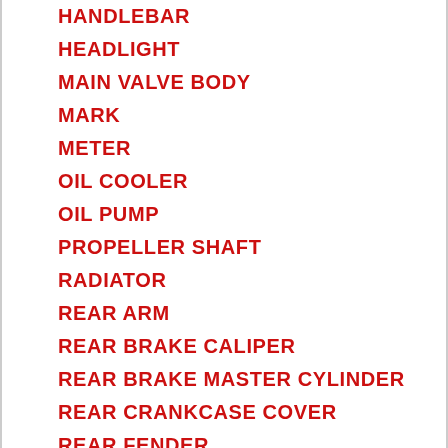HANDLEBAR
HEADLIGHT
MAIN VALVE BODY
MARK
METER
OIL COOLER
OIL PUMP
PROPELLER SHAFT
RADIATOR
REAR ARM
REAR BRAKE CALIPER
REAR BRAKE MASTER CYLINDER
REAR CRANKCASE COVER
REAR FENDER
REAR KNUCKLE